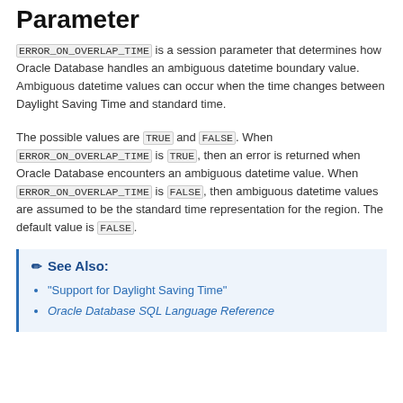Parameter
ERROR_ON_OVERLAP_TIME is a session parameter that determines how Oracle Database handles an ambiguous datetime boundary value. Ambiguous datetime values can occur when the time changes between Daylight Saving Time and standard time.
The possible values are TRUE and FALSE. When ERROR_ON_OVERLAP_TIME is TRUE, then an error is returned when Oracle Database encounters an ambiguous datetime value. When ERROR_ON_OVERLAP_TIME is FALSE, then ambiguous datetime values are assumed to be the standard time representation for the region. The default value is FALSE.
See Also:
"Support for Daylight Saving Time"
Oracle Database SQL Language Reference